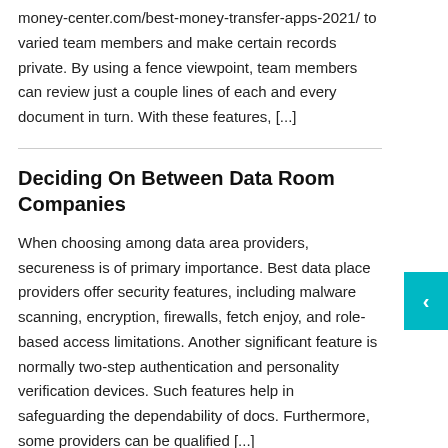money-center.com/best-money-transfer-apps-2021/ to varied team members and make certain records private. By using a fence viewpoint, team members can review just a couple lines of each and every document in turn. With these features, [...]
Deciding On Between Data Room Companies
When choosing among data area providers, secureness is of primary importance. Best data place providers offer security features, including malware scanning, encryption, firewalls, fetch enjoy, and role-based access limitations. Another significant feature is normally two-step authentication and personality verification devices. Such features help in safeguarding the dependability of docs. Furthermore, some providers can be qualified [...]